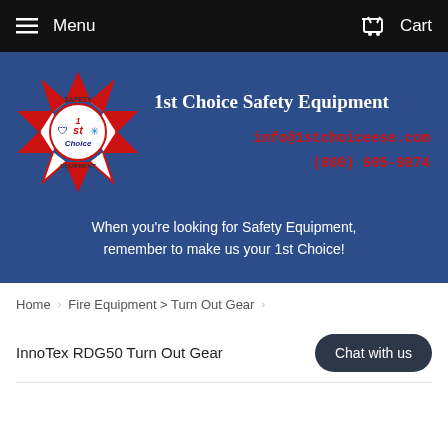Menu   Cart
[Figure (logo): 1st Choice Safety Equipment maltese cross logo with fire/EMS symbols]
1st Choice Safety Equipment
info@1stchoiceese.com
(800) 605-9874
When you're looking for Safety Equipment, remember to make us your 1st Choice!
Home  >  Fire Equipment > Turn Out Gear  >
InnoTex RDG50 Turn Out Gear
Chat with us